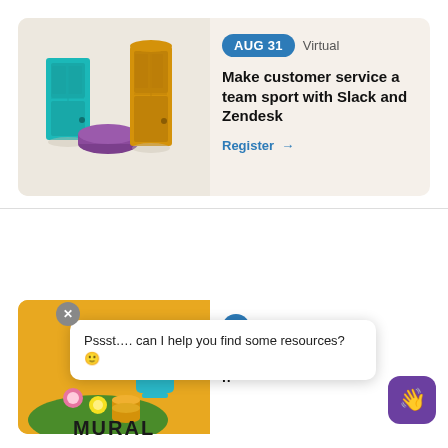[Figure (illustration): 3D illustration of a teal door, a purple circular platform, and a yellow/gold door on a beige background]
AUG 31  Virtual
Make customer service a team sport with Slack and Zendesk
Register →
[Figure (illustration): Yellow/gold background with flowers, coins, and a blue watering can]
On-Demand
sal n MORAL
Pssst…. can I help you find some resources? 🙂